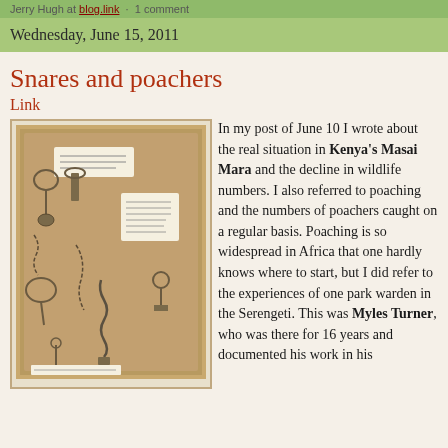Jerry Hugh at blog.link · 1 comment
Wednesday, June 15, 2011
Snares and poachers
Link
[Figure (photo): A display board showing various animal snares and poaching devices, mounted on a tan/brown background in what appears to be a museum or park exhibit.]
In my post of June 10 I wrote about the real situation in Kenya's Masai Mara and the decline in wildlife numbers. I also referred to poaching and the numbers of poachers caught on a regular basis. Poaching is so widespread in Africa that one hardly knows where to start, but I did refer to the experiences of one park warden in the Serengeti. This was Myles Turner, who was there for 16 years and documented his work in his